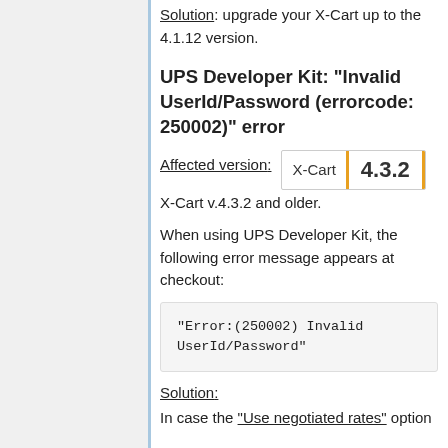Solution: upgrade your X-Cart up to the 4.1.12 version.
UPS Developer Kit: "Invalid UserId/Password (errorcode: 250002)" error
Affected version: X-Cart 4.3.2 X-Cart v.4.3.2 and older.
When using UPS Developer Kit, the following error message appears at checkout:
"Error:(250002) Invalid
UserId/Password"
Solution:
In case the "Use negotiated rates" option